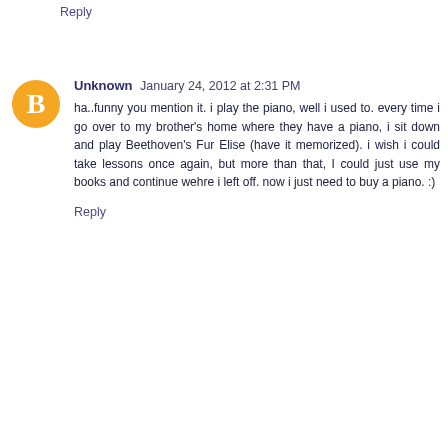Reply
Unknown  January 24, 2012 at 2:31 PM
ha..funny you mention it. i play the piano, well i used to. every time i go over to my brother's home where they have a piano, i sit down and play Beethoven's Fur Elise (have it memorized). i wish i could take lessons once again, but more than that, I could just use my books and continue wehre i left off. now i just need to buy a piano. :)
Reply